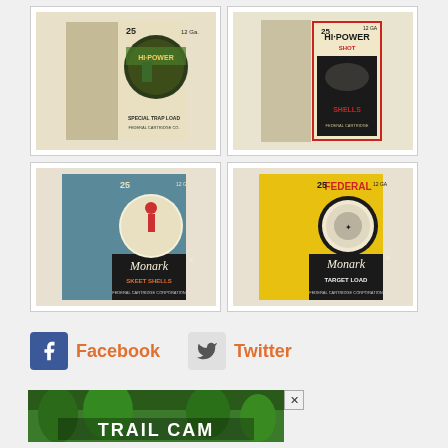[Figure (photo): Federal Hi-Power Special Trap Load shotgun shell box, green and cream color scheme with circular badge design]
[Figure (photo): Federal Hi-Power Shot Shells box, black and cream with duck/bird flying illustration]
[Figure (photo): Federal Monark Skeet Shells box, teal/blue and black with hunter illustration]
[Figure (photo): Federal Monark Target Load box, yellow/black with compass medallion design]
[Figure (photo): Trail Cams or similar advertisement banner, partially visible at bottom of page]
Facebook
Twitter